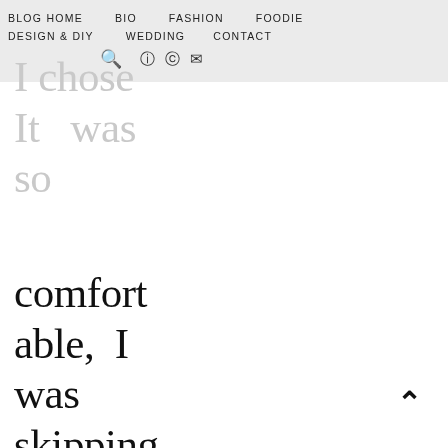BLOG HOME   BIO   FASHION   FOODIE   DESIGN & DIY   WEDDING   CONTACT
I chose It was so comfort able, I was skipping and spinning around my apartment even after the photos